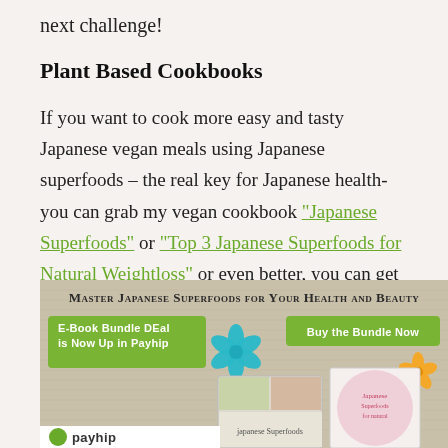next challenge!
Plant Based Cookbooks
If you want to cook more easy and tasty Japanese vegan meals using Japanese superfoods – the real key for Japanese health- you can grab my vegan cookbook "Japanese Superfoods" or "Top 3 Japanese Superfoods for Natural Weightloss" or even better, you can get the "Japanese Superfoods combo deal" to master all Japanese Superfoods.
[Figure (illustration): Promotional banner for Japanese Superfoods e-book bundle deal with title 'Master Japanese Superfoods for Your Health and Beauty', green buttons, teal and orange flower decorations, book cover thumbnails, and payhip branding at the bottom.]